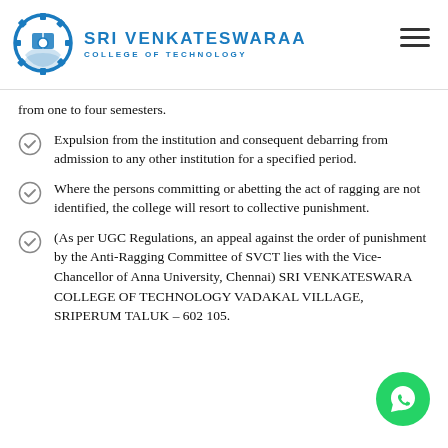SRI VENKATESWARAA COLLEGE OF TECHNOLOGY
from one to four semesters.
Expulsion from the institution and consequent debarring from admission to any other institution for a specified period.
Where the persons committing or abetting the act of ragging are not identified, the college will resort to collective punishment.
(As per UGC Regulations, an appeal against the order of punishment by the Anti-Ragging Committee of SVCT lies with the Vice-Chancellor of Anna University, Chennai) SRI VENKATESWARA COLLEGE OF TECHNOLOGY VADAKAL VILLAGE, SRIPERUM TALUK – 602 105.